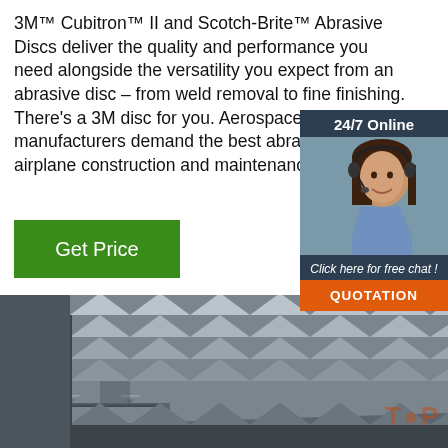3M™ Cubitron™ II and Scotch-Brite™ Abrasive Discs deliver the quality and performance you need alongside the versatility you expect from an abrasive disc – from weld removal to fine finishing. There's a 3M disc for you. Aerospace. Airplane manufacturers demand the best abrasives for airplane construction and maintenance,
[Figure (other): Green 'Get Price' button]
[Figure (other): Dark blue sidebar with '24/7 Online' header, customer service agent photo, 'Click here for free chat!' text, and orange 'QUOTATION' button]
[Figure (photo): Stacked steel angle iron pieces photographed from the side, showing zigzag profile]
TOP